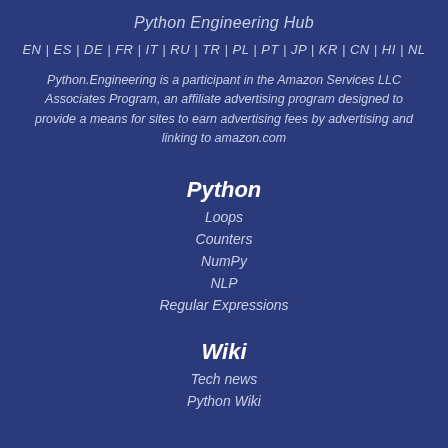Python Engineering Hub
EN | ES | DE | FR | IT | RU | TR | PL | PT | JP | KR | CN | HI | NL
Python.Engineering is a participant in the Amazon Services LLC Associates Program, an affiliate advertising program designed to provide a means for sites to earn advertising fees by advertising and linking to amazon.com
Python
Loops
Counters
NumPy
NLP
Regular Expressions
Wiki
Tech news
Python Wiki